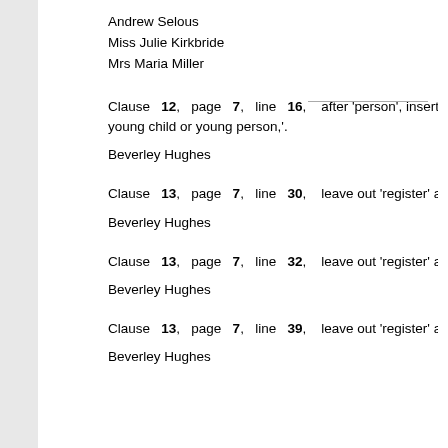Andrew Selous
Miss Julie Kirkbride
Mrs Maria Miller
Clause 12, page 7, line 16, after 'person', insert ', or an e young child or young person,'.
Beverley Hughes
Clause 13, page 7, line 30, leave out 'register' and insert
Beverley Hughes
Clause 13, page 7, line 32, leave out 'register' and insert
Beverley Hughes
Clause 13, page 7, line 39, leave out 'register' and insert
Beverley Hughes